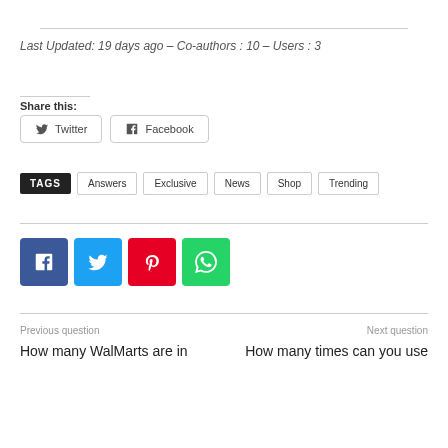Last Updated: 19 days ago – Co-authors : 10 – Users : 3
Share this:
Twitter  Facebook
TAGS  Answers  Exclusive  News  Shop  Trending
[Figure (other): Social media share icons: Facebook (blue), Twitter (light blue), Pinterest (red), WhatsApp (green)]
Previous question
Next question
How many WalMarts are in
How many times can you use